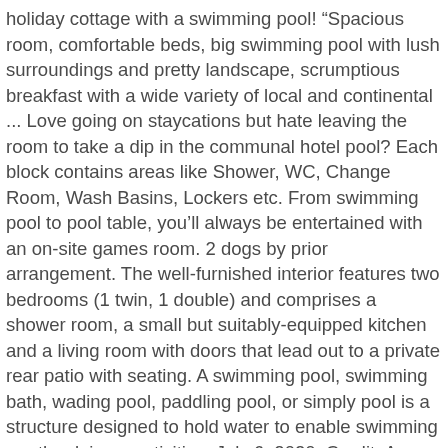holiday cottage with a swimming pool! “Spacious room, comfortable beds, big swimming pool with lush surroundings and pretty landscape, scrumptious breakfast with a wide variety of local and continental ... Love going on staycations but hate leaving the room to take a dip in the communal hotel pool? Each block contains areas like Shower, WC, Change Room, Wash Basins, Lockers etc. From swimming pool to pool table, you’ll always be entertained with an on-site games room. 2 dogs by prior arrangement. The well-furnished interior features two bedrooms (1 twin, 1 double) and comprises a shower room, a small but suitably-equipped kitchen and a living room with doors that lead out to a private rear patio with seating. A swimming pool, swimming bath, wading pool, paddling pool, or simply pool is a structure designed to hold water to enable swimming or other leisure activities. July 6, 2020. Credit: Amara Sanctuary Resort. 4,431 room with swimming pool products are offered for sale by suppliers on Alibaba.com, of which living room sofas accounts for 1%, plastic flooring accounts for 1%, and prefab houses accounts for 1%. The air-conditioned unit comes ... Pools can be built into the ground (in-ground pools) or built above ground (as a freestanding construction or as part of a building or other larger structure), and may be found as a feature aboard ocean-liners and cruise